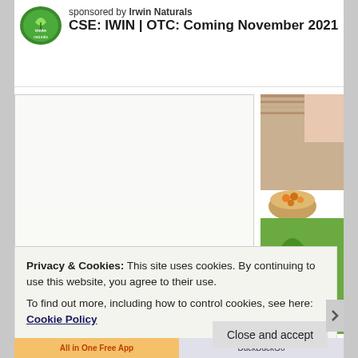[Figure (logo): Irwin Naturals logo - green circular logo with leaf design]
sponsored by Irwin Naturals
CSE: IWIN | OTC: Coming November 2021
[Figure (photo): Two golden yellow gel capsule supplements on white background]
[Figure (photo): Natural herbs and supplements - green leaves, bowl of orange capsules, wooden background]
Privacy & Cookies: This site uses cookies. By continuing to use this website, you agree to their use.
To find out more, including how to control cookies, see here: Cookie Policy
Close and accept